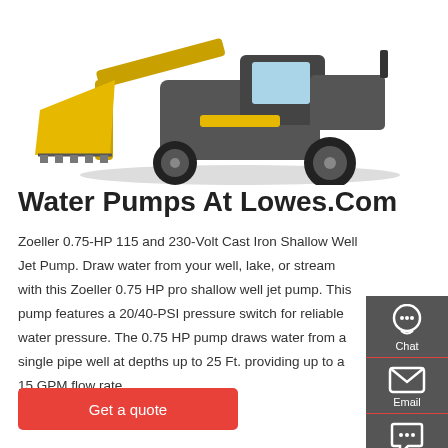[Figure (photo): Yellow front-loader construction machine / wheel loader with bucket raised, photographed from the front-right angle against white background]
Water Pumps At Lowes.Com
Zoeller 0.75-HP 115 and 230-Volt Cast Iron Shallow Well Jet Pump. Draw water from your well, lake, or stream with this Zoeller 0.75 HP pro shallow well jet pump. This pump features a 20/40-PSI pressure switch for reliable water pressure. The 0.75 HP pump draws water from a single pipe well at depths up to 25 Ft. providing up to a 15 GPM flow rate.
Get a quote
[Figure (infographic): Right-side vertical sidebar with dark grey background showing three contact options: Chat (headset icon), Email (envelope icon), Contact (speech bubble icon), each separated by a red horizontal line]